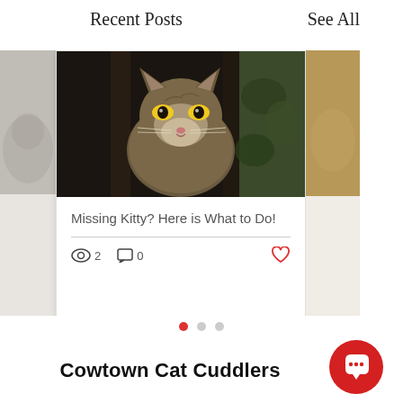Recent Posts
See All
[Figure (photo): Center card showing a close-up photo of a tabby cat with yellow-green eyes looking through dark fence bars, with blurred green foliage in the background. Left and right edge peeks show adjacent cards.]
Missing Kitty? Here is What to Do!
2 views, 0 comments, like button
Cowtown Cat Cuddlers